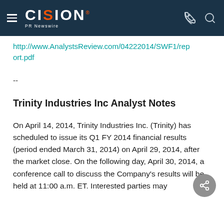CISION PR Newswire
http://www.AnalystsReview.com/04222014/SWF1/report.pdf
--
Trinity Industries Inc Analyst Notes
On April 14, 2014, Trinity Industries Inc. (Trinity) has scheduled to issue its Q1 FY 2014 financial results (period ended March 31, 2014) on April 29, 2014, after the market close. On the following day, April 30, 2014, a conference call to discuss the Company's results will be held at 11:00 a.m. ET. Interested parties may access the call by dialing in to Trinity's website...